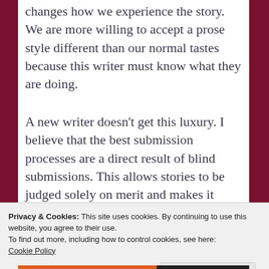changes how we experience the story. We are more willing to accept a prose style different than our normal tastes because this writer must know what they are doing.
A new writer doesn't get this luxury. I believe that the best submission processes are a direct result of blind submissions. This allows stories to be judged solely on merit and makes it impossible for editors to conceive biases that have nothing to do with the story.
Privacy & Cookies: This site uses cookies. By continuing to use this website, you agree to their use.
To find out more, including how to control cookies, see here: Cookie Policy
Close and accept